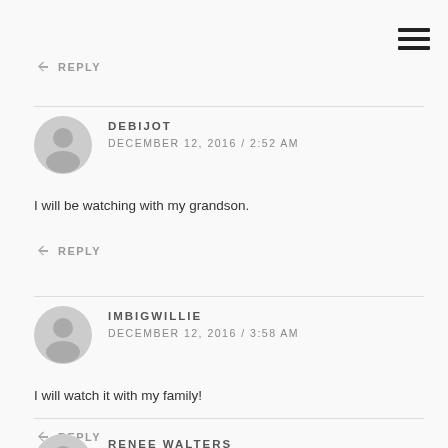REPLY
DEBIJOT
DECEMBER 12, 2016 / 2:52 AM
I will be watching with my grandson.
REPLY
IMBIGWILLIE
DECEMBER 12, 2016 / 3:58 AM
I will watch it with my family!
REPLY
RENEE WALTERS
DECEMBER 12, 2016 / 7:39 AM